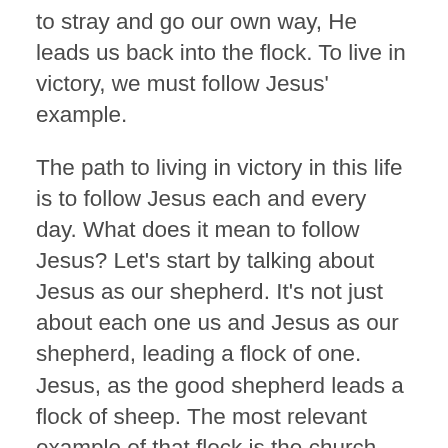to stray and go our own way, He leads us back into the flock. To live in victory, we must follow Jesus' example.
The path to living in victory in this life is to follow Jesus each and every day. What does it mean to follow Jesus? Let's start by talking about Jesus as our shepherd. It's not just about each one us and Jesus as our shepherd, leading a flock of one. Jesus, as the good shepherd leads a flock of sheep. The most relevant example of that flock is the church family that we are part of.
We are to encourage one another to keep on following Jesus together. If we notice a member of flock straying and not with us, we are to go after that straying sheep. What